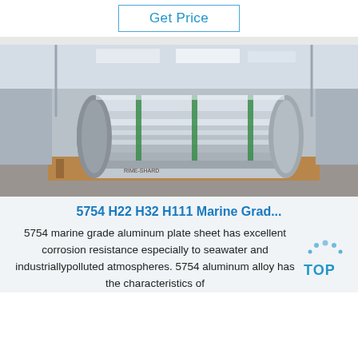Get Price
[Figure (photo): Large aluminum coil roll on wooden pallet inside industrial warehouse]
5754 H22 H32 H111 Marine Grad...
5754 marine grade aluminum plate sheet has excellent corrosion resistance especially to seawater and industriallypolluted atmospheres. 5754 aluminum alloy has the characteristics of